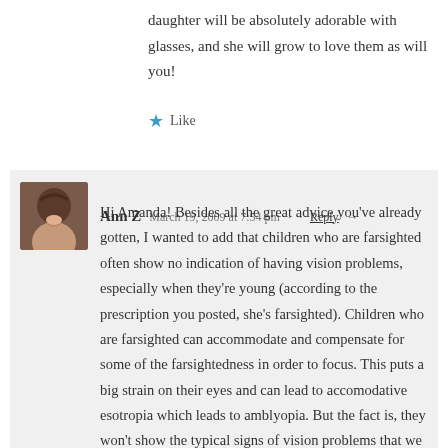daughter will be absolutely adorable with glasses, and she will grow to love them as will you!
★ Like
Ann Z   March 19, 2009 at 7:54 pm   Reply →
Hi Amanda! Besides all the great advice you've already gotten, I wanted to add that children who are farsighted often show no indication of having vision problems, especially when they're young (according to the prescription you posted, she's farsighted). Children who are farsighted can accommodate and compensate for some of the farsightedness in order to focus. This puts a big strain on their eyes and can lead to accomodative esotropia which leads to amblyopia. But the fact is, they won't show the typical signs of vision problems that we all watch out for, as those are signs of being nearsighted.
I'm not sure what to say about the two different opinions, other than maybe to go back to the first doctor and tell him or her what the